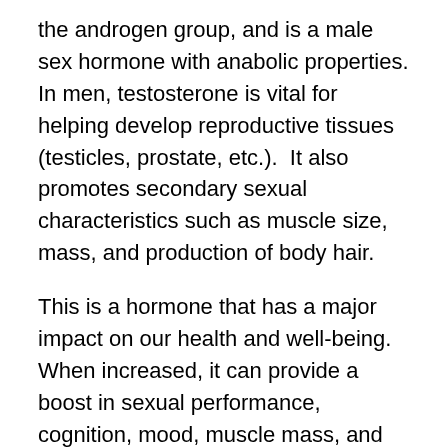the androgen group, and is a male sex hormone with anabolic properties. In men, testosterone is vital for helping develop reproductive tissues (testicles, prostate, etc.).  It also promotes secondary sexual characteristics such as muscle size, mass, and production of body hair.
This is a hormone that has a major impact on our health and well-being. When increased, it can provide a boost in sexual performance, cognition, mood, muscle mass, and body hair. Having sufficient testosterone is also considered a good preventative measure against developing osteoporosis. Among adult men, testosterone levels are typically between 7x and 8x greater than levels among women.
Medically, testosterone is used primarily to help males who are unable to naturally produce sufficient